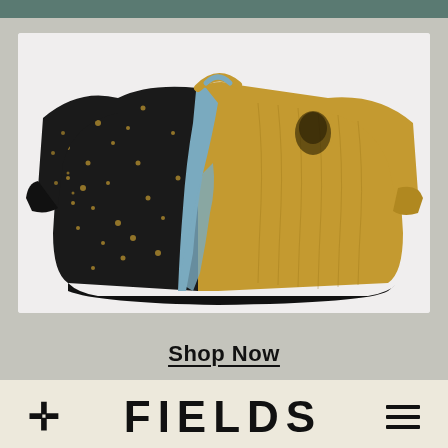[Figure (photo): A knit sweater that is half black with gold/yellow speckle pattern and blue accent details on the left side, and half solid mustard/gold cable-knit on the right side, displayed flat against a light gray background.]
Shop Now
FIELDS